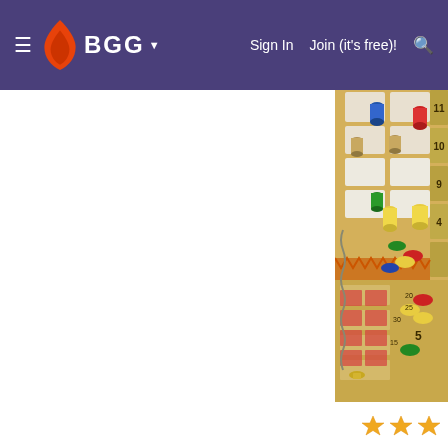BGG — Sign In | Join (it's free)!
[Figure (photo): Close-up photo of a board game in progress showing colorful wooden cylinder and disc tokens (blue, red, green, yellow, brown) placed on an illustrated game board with numbered tracks and decorative card spaces]
[Figure (other): Three gold/orange star rating icons]